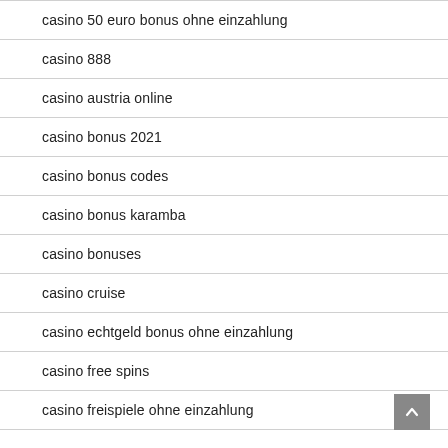casino 50 euro bonus ohne einzahlung
casino 888
casino austria online
casino bonus 2021
casino bonus codes
casino bonus karamba
casino bonuses
casino cruise
casino echtgeld bonus ohne einzahlung
casino free spins
casino freispiele ohne einzahlung